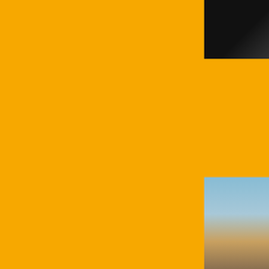Hurricanes travel on the long and winding road again to face Dave Wannstedt and his Pittsburgh
So the way we see it is: "Why wait to get some mid-week?"
Your Miami Hurricanes are looking to score and score BIG as they stroll into the Steel City to play with the Panthers.
And, If you have been paying attention lately around here we think they will.  It will be tackles, takeaways and sure handed catches that will lead your Hurricanes to victory this week.
That is the boys from the 305 will walk into the 724 and simply take over and take whatever is important to them (a victory) and their fans will take whatever they want as they leave (hide your women and children).